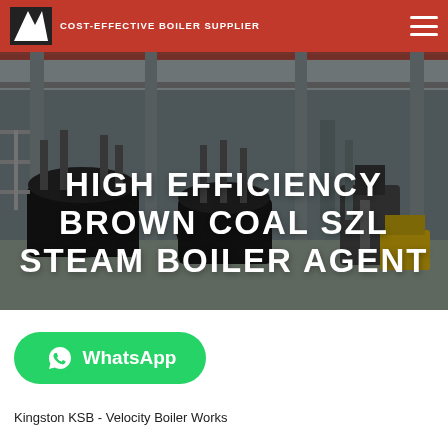COST-EFFECTIVE BOILER SUPPLIER
[Figure (photo): Industrial boiler manufacturing facility interior showing large boiler equipment, steel structures, cranes and industrial machinery in a factory hall.]
HIGH EFFICIENCY BROWN COAL SZL STEAM BOILER AGENT
[Figure (logo): WhatsApp button with green rounded rectangle background, WhatsApp phone icon, and 'WhatsApp' label in white text.]
Kingston KSB - Velocity Boiler Works